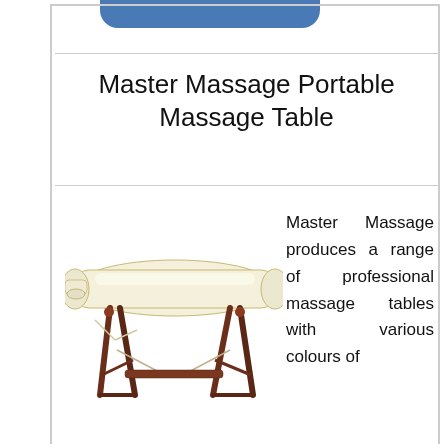Master Massage Portable Massage Table
[Figure (photo): A cream/beige colored portable massage table with wooden legs (dark cherry/mahogany finish), shown with face cradle attached, viewed from a slight angle.]
Master Massage produces a range of professional massage tables with various colours of